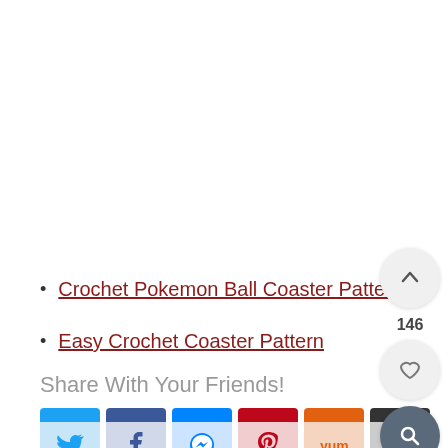Crochet Pokemon Ball Coaster Pattern
Easy Crochet Coaster Pattern
Share With Your Friends!
[Figure (other): Social sharing buttons: Twitter, Facebook, Messenger, Pinterest, Yummly, Share]
[Figure (other): Floating sidebar: up arrow button with count 146, heart/save button, and search button]